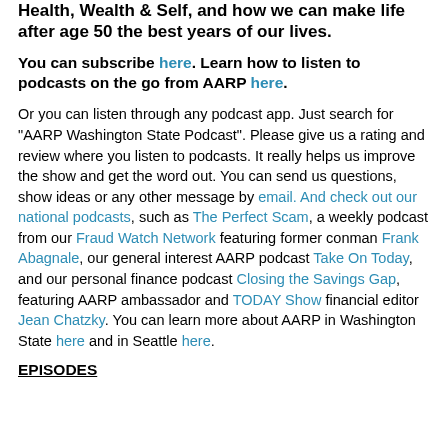Health, Wealth & Self, and how we can make life after age 50 the best years of our lives.
You can subscribe here. Learn how to listen to podcasts on the go from AARP here.
Or you can listen through any podcast app. Just search for "AARP Washington State Podcast". Please give us a rating and review where you listen to podcasts. It really helps us improve the show and get the word out. You can send us questions, show ideas or any other message by email. And check out our national podcasts, such as The Perfect Scam, a weekly podcast from our Fraud Watch Network featuring former conman Frank Abagnale, our general interest AARP podcast Take On Today, and our personal finance podcast Closing the Savings Gap, featuring AARP ambassador and TODAY Show financial editor Jean Chatzky. You can learn more about AARP in Washington State here and in Seattle here.
EPISODES